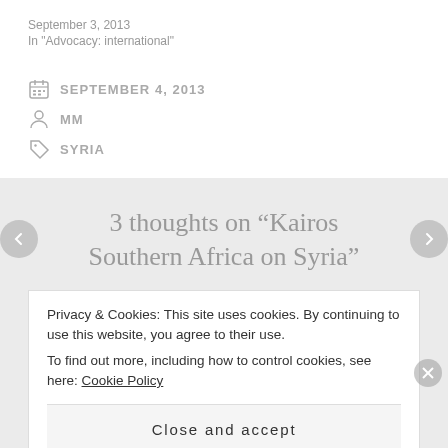September 3, 2013
In "Advocacy: international"
SEPTEMBER 4, 2013
MM
SYRIA
3 thoughts on “Kairos Southern Africa on Syria”
Privacy & Cookies: This site uses cookies. By continuing to use this website, you agree to their use.
To find out more, including how to control cookies, see here: Cookie Policy
Close and accept